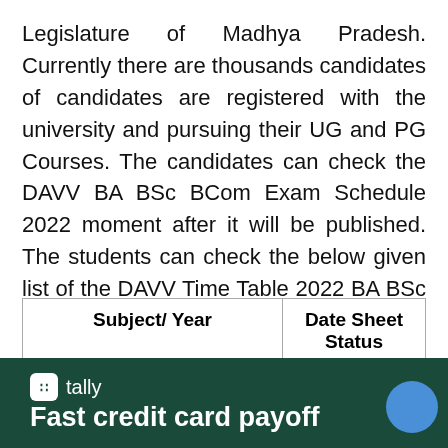Legislature of Madhya Pradesh. Currently there are thousands candidates of candidates are registered with the university and pursuing their UG and PG Courses. The candidates can check the DAVV BA BSc BCom Exam Schedule 2022 moment after it will be published. The students can check the below given list of the DAVV Time Table 2022 BA BSc BCom 1st/2nd/3rd Year Exam.
| Subject/ Year | Date Sheet Status |
| --- | --- |
| [partially visible subject text] | Available |
[Figure (other): Tally app advertisement banner with dark green background. Shows Tally logo icon, 'tally' text, and tagline 'Fast credit card payoff'. Blue circle button on right.]